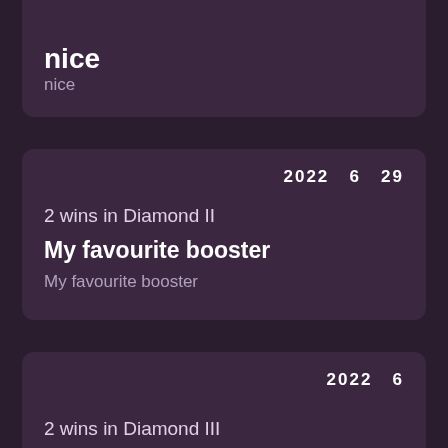nice
nice
2022 6 29
2 wins in Diamond II
My favourite booster
My favourite booster
2022 6
2 wins in Diamond III